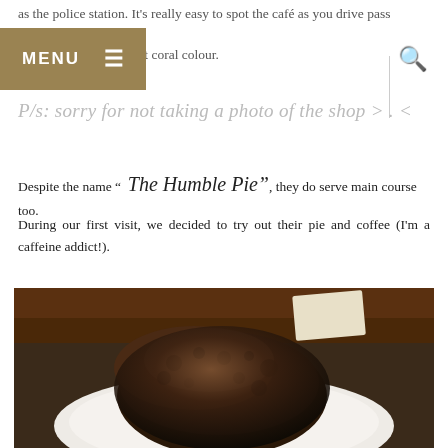as the police station. It's really easy to spot the café as you drive pass KannaCurry ... bright coral colour.
MENU
P/s: sorry for not taking a photo of the shop >.<
Despite the name "  The Humble Pie", they do serve main course too.
During our first visit, we decided to try out their pie and coffee (I'm a caffeine addict!).
[Figure (photo): Close-up photo of a chocolate/coffee dusted pie on a white plate on a wooden table]